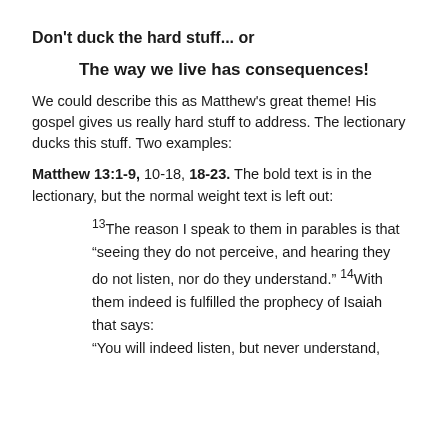Don't duck the hard stuff... or
The way we live has consequences!
We could describe this as Matthew's great theme! His gospel gives us really hard stuff to address. The lectionary ducks this stuff. Two examples:
Matthew 13:1-9, 10-18, 18-23. The bold text is in the lectionary, but the normal weight text is left out:
²13The reason I speak to them in parables is that “seeing they do not perceive, and hearing they do not listen, nor do they understand.” 14With them indeed is fulfilled the prophecy of Isaiah that says: “You will indeed listen, but never understand,